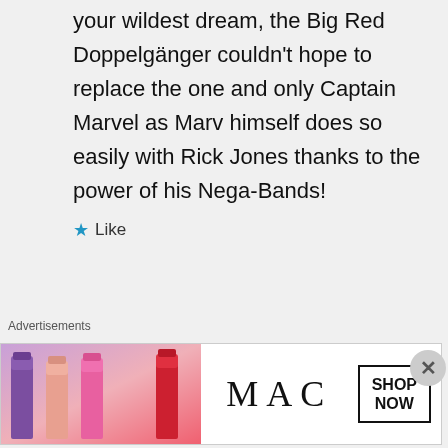your wildest dream, the Big Red Doppelgänger couldn't hope to replace the one and only Captain Marvel as Marv himself does so easily with Rick Jones thanks to the power of his Nega-Bands!
★ Like
Advertisements
[Figure (photo): MAC cosmetics advertisement showing lipsticks in purple, pink, and red shades with MAC logo and SHOP NOW button]